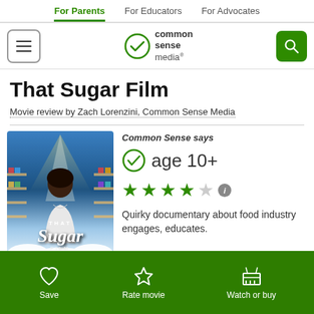For Parents | For Educators | For Advocates
[Figure (logo): Common Sense Media logo with green checkmark]
That Sugar Film
Movie review by Zach Lorenzini, Common Sense Media
[Figure (photo): That Sugar Film movie poster showing a man in front of supermarket shelves with colorful product displays]
Common Sense says
age 10+
4 out of 5 stars
Quirky documentary about food industry engages, educates.
Save | Rate movie | Watch or buy